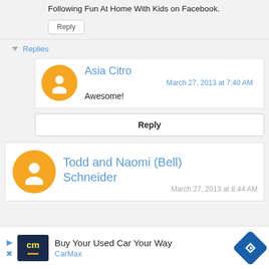Following Fun At Home With Kids on Facebook.
Reply
Replies
Asia Citro
March 27, 2013 at 7:40 AM
Awesome!
Reply
Todd and Naomi (Bell) Schneider
March 27, 2013 at 8:44 AM
Buy Your Used Car Your Way CarMax